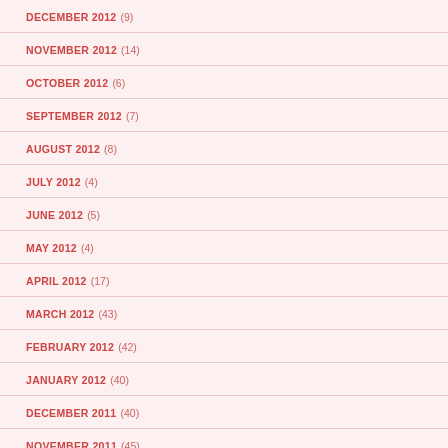DECEMBER 2012 (9)
NOVEMBER 2012 (14)
OCTOBER 2012 (6)
SEPTEMBER 2012 (7)
AUGUST 2012 (8)
JULY 2012 (4)
JUNE 2012 (5)
MAY 2012 (4)
APRIL 2012 (17)
MARCH 2012 (43)
FEBRUARY 2012 (42)
JANUARY 2012 (40)
DECEMBER 2011 (40)
NOVEMBER 2011 (45)
OCTOBER 2011 (45)
SEPTEMBER 2011 (45)